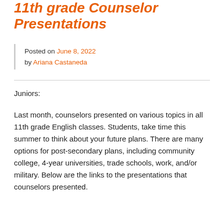11th grade Counselor Presentations
Posted on June 8, 2022 by Ariana Castaneda
Juniors:
Last month, counselors presented on various topics in all 11th grade English classes. Students, take time this summer to think about your future plans. There are many options for post-secondary plans, including community college, 4-year universities, trade schools, work, and/or military. Below are the links to the presentations that counselors presented.